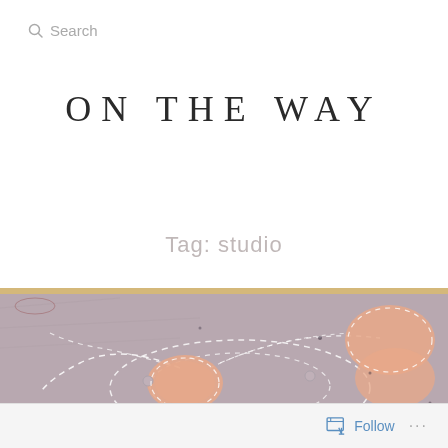Search
ON THE WAY
Tag: studio
[Figure (photo): Abstract painting with a mauve/purple-grey background featuring white dashed curved lines forming oval and swirling shapes, with peachy-pink organic blob shapes scattered across the canvas. Canvas appears to have a wooden frame visible at the top edge.]
Follow ...